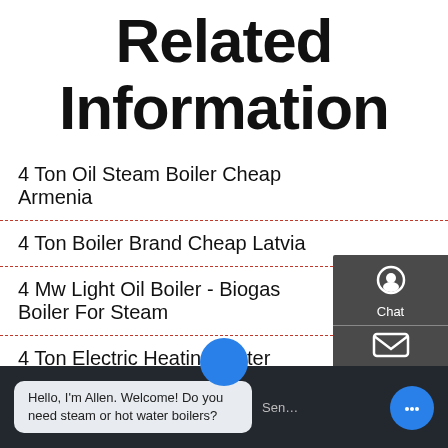Related Information
4 Ton Oil Steam Boiler Cheap Armenia
4 Ton Boiler Brand Cheap Latvia
4 Mw Light Oil Boiler - Biogas Boiler For Steam
4 Ton Electric Heating Water Boiler
4 Ton Natural Gas Boiler Belarus
4 Ton Gas Fired Boiler Price Kyrgyzstan
Hello, I'm Allen. Welcome! Do you need steam or hot water boilers?